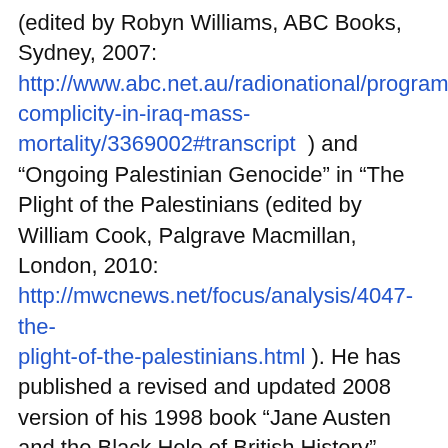(edited by Robyn Williams, ABC Books, Sydney, 2007: http://www.abc.net.au/radionational/programs/ockham-complicity-in-iraq-mass-mortality/3369002#transcript ) and "Ongoing Palestinian Genocide" in "The Plight of the Palestinians (edited by William Cook, Palgrave Macmillan, London, 2010: http://mwcnews.net/focus/analysis/4047-the-plight-of-the-palestinians.html ). He has published a revised and updated 2008 version of his 1998 book "Jane Austen and the Black Hole of British History" (see: http://janeaustenand.blogspot.com/ ) as biofuel-, globalization- and climate-driven global food price increases threaten a greater famine catastrophe than the man-made famine